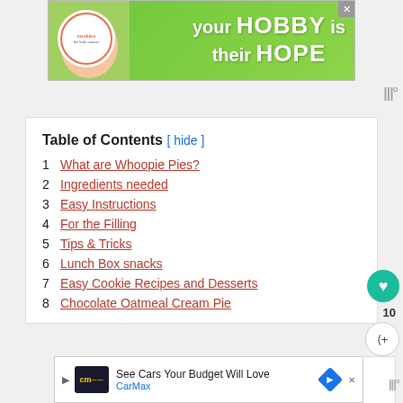[Figure (other): Green advertisement banner for Cookies for Kids Cancer: 'your HOBBY is their HOPE' with logo and hands holding a heart-shaped cookie]
Table of Contents  [ hide ]
1  What are Whoopie Pies?
2  Ingredients needed
3  Easy Instructions
4  For the Filling
5  Tips & Tricks
6  Lunch Box snacks
7  Easy Cookie Recipes and Desserts
8  Chocolate Oatmeal Cream Pie
[Figure (other): CarMax advertisement: 'See Cars Your Budget Will Love  CarMax']